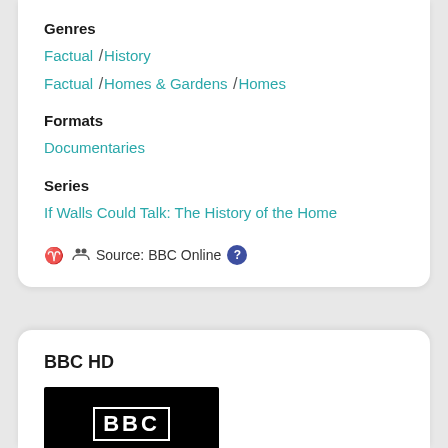Genres
Factual / History
Factual / Homes & Gardens / Homes
Formats
Documentaries
Series
If Walls Could Talk: The History of the Home
Source: BBC Online
BBC HD
[Figure (logo): BBC HD logo: black background with BBC text in white bordered box and HD text below in white]